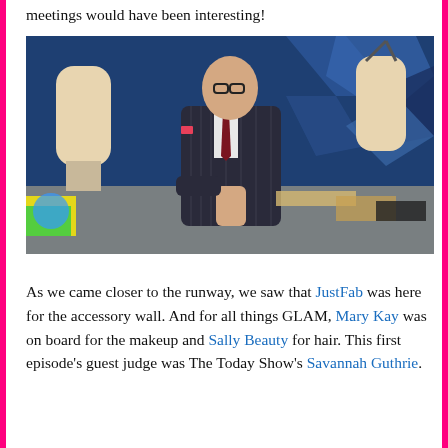meetings would have been interesting!
[Figure (photo): Man in pinstripe suit standing thoughtfully in a fashion design workroom with dress forms/mannequins in background]
As we came closer to the runway, we saw that JustFab was here for the accessory wall. And for all things GLAM, Mary Kay was on board for the makeup and Sally Beauty for hair. This first episode's guest judge was The Today Show's Savannah Guthrie.